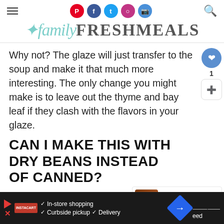familyFRESHMEALS
Why not? The glaze will just transfer to the soup and make it that much more interesting. The only change you might make is to leave out the thyme and bay leaf if they clash with the flavors in your glaze.
CAN I MAKE THIS WITH DRY BEANS INSTEAD OF CANNED?
Yes, but it will take longer. If you throw the be...
[Figure (other): WHAT'S NEXT widget showing Slow Cooker BBQ Short... with a food thumbnail image]
Ad banner: In-store shopping, Curbside pickup, Delivery